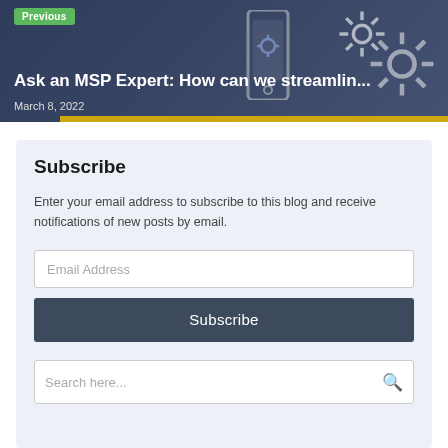[Figure (photo): Hero image showing a person holding a smartphone with gear/settings icons overlaid on a dark blue background, with a yellow bar accent at the bottom. Previous navigation badge in green top-left.]
Previous
Ask an MSP Expert: How can we streamlin...
March 8, 2022
Subscribe
Enter your email address to subscribe to this blog and receive notifications of new posts by email.
Email Address
Subscribe
Search here...